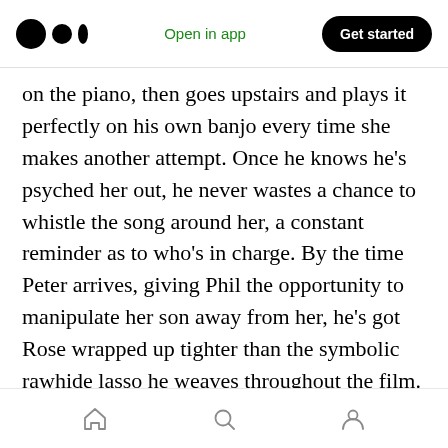Open in app | Get started
on the piano, then goes upstairs and plays it perfectly on his own banjo every time she makes another attempt. Once he knows he’s psyched her out, he never wastes a chance to whistle the song around her, a constant reminder as to who’s in charge. By the time Peter arrives, giving Phil the opportunity to manipulate her son away from her, he’s got Rose wrapped up tighter than the symbolic rawhide lasso he weaves throughout the film.
Cumberbatch’s performance is next level here, beyond anything he’s ever done. Sure, he’s played